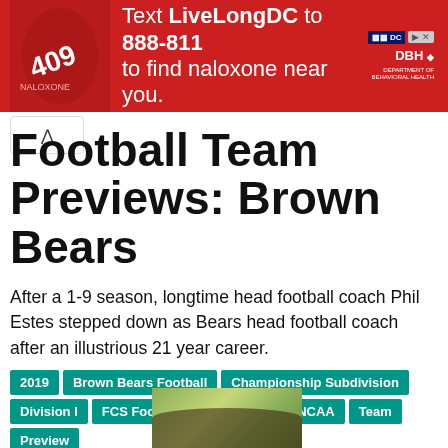[Figure (infographic): Red advertisement banner: Text LiveLongDC to 888-811 to find naloxone near you. DC and DBH logos on right side.]
Football Team Previews: Brown Bears
After a 1-9 season, longtime head football coach Phil Estes stepped down as Bears head football coach after an illustrious 21 year career.
2019
Brown Bears Football
Championship Subdivision
Division I
FCS Football
Ivy League
NCAA
Team Preview
[Figure (photo): Photo of football team celebration, players holding up a trophy with confetti in background.]